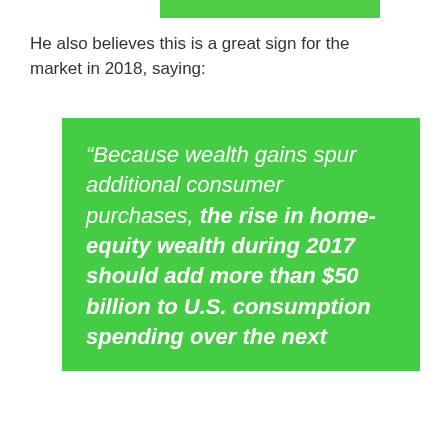[Figure (other): Green horizontal bar at the top of the page]
He also believes this is a great sign for the market in 2018, saying:
“Because wealth gains spur additional consumer purchases, the rise in home-equity wealth during 2017 should add more than $50 billion to U.S. consumption spending over the next